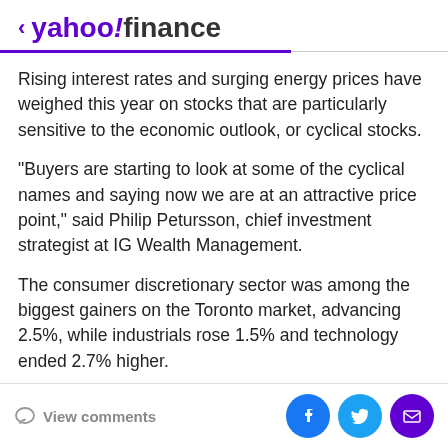< yahoo!finance
Rising interest rates and surging energy prices have weighed this year on stocks that are particularly sensitive to the economic outlook, or cyclical stocks.
"Buyers are starting to look at some of the cyclical names and saying now we are at an attractive price point," said Philip Petursson, chief investment strategist at IG Wealth Management.
The consumer discretionary sector was among the biggest gainers on the Toronto market, advancing 2.5%, while industrials rose 1.5% and technology ended 2.7% higher.
View comments